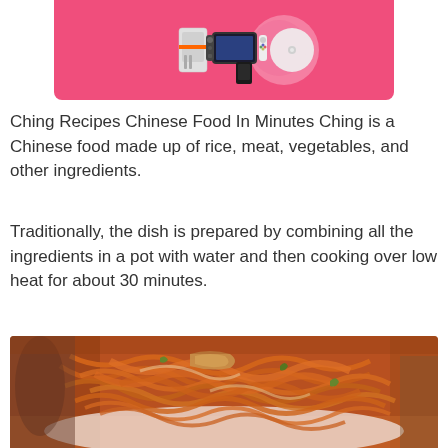[Figure (photo): A pink/magenta background with gaming console hardware including what appears to be a Nintendo Switch and related accessories]
Ching Recipes Chinese Food In Minutes Ching is a Chinese food made up of rice, meat, vegetables, and other ingredients.
Traditionally, the dish is prepared by combining all the ingredients in a pot with water and then cooking over low heat for about 30 minutes.
[Figure (photo): A plate of Chinese stir-fried noodles with chicken/meat, vegetables including green onions, in a brown/orange sauce served on a white plate]